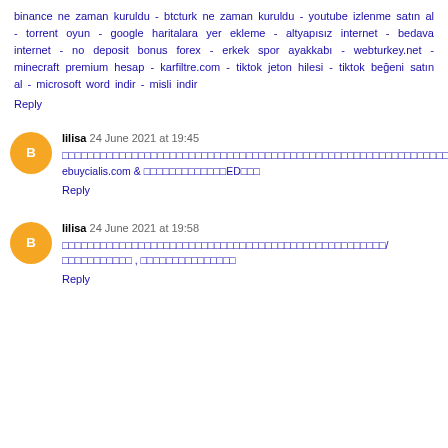binance ne zaman kuruldu - btcturk ne zaman kuruldu - youtube izlenme satın al - torrent oyun - google haritalara yer ekleme - altyapısız internet - bedava internet - no deposit bonus forex - erkek spor ayakkabı - webturkey.net - minecraft premium hesap - karfiltre.com - tiktok jeton hilesi - tiktok beğeni satın al - microsoft word indir - misli indir
Reply
lilisa 24 June 2021 at 19:45
□□□□□□□□□□□□□□□□□□□□□□□□□□□□□□□□□□□□□□□□□□□□□□□□□□□□□□□□□□□□□□□ ebuycialis.com & □□□□□□□□□□□□□ED□□□
Reply
lilisa 24 June 2021 at 19:58
□□□□□□□□□□□□□□□□□□□□□□□□□□□□□□□□□□□□□□□□□□□□□□□□□□□/□□□□□□□□□□□ , □□□□□□□□□□□□□□□
Reply